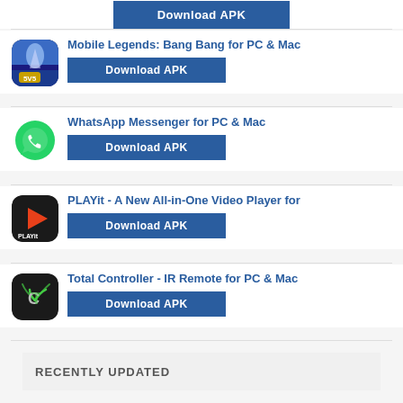[Figure (screenshot): Download APK button at top]
[Figure (screenshot): Mobile Legends: Bang Bang app icon]
Mobile Legends: Bang Bang for PC & Mac
[Figure (screenshot): Download APK button]
[Figure (screenshot): WhatsApp Messenger app icon]
WhatsApp Messenger for PC & Mac
[Figure (screenshot): Download APK button]
[Figure (screenshot): PLAYit app icon]
PLAYit - A New All-in-One Video Player for
[Figure (screenshot): Download APK button]
[Figure (screenshot): Total Controller app icon]
Total Controller - IR Remote for PC & Mac
[Figure (screenshot): Download APK button]
RECENTLY UPDATED